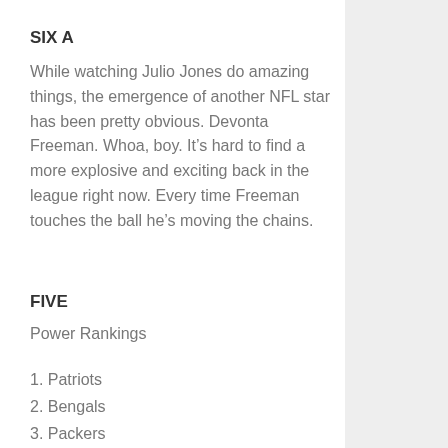SIX A
While watching Julio Jones do amazing things, the emergence of another NFL star has been pretty obvious. Devonta Freeman. Whoa, boy. It's hard to find a more explosive and exciting back in the league right now. Every time Freeman touches the ball he's moving the chains.
FIVE
Power Rankings
1. Patriots
2. Bengals
3. Packers